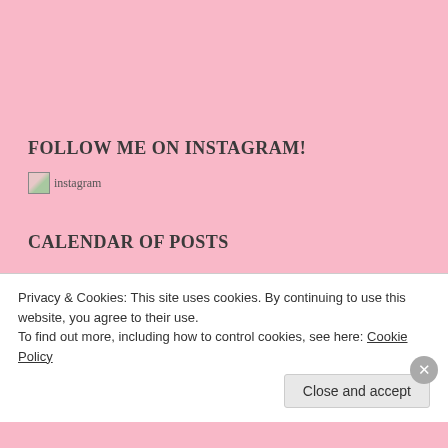FOLLOW ME ON INSTAGRAM!
[Figure (other): Instagram image placeholder with broken image icon and alt text 'instagram']
CALENDAR OF POSTS
| M | T | W | T | F | S | S |
| --- | --- | --- | --- | --- | --- | --- |
| 1 | 2 | 3 | 4 | 5 | 6 | 7 |
| 8 | 9 | 10 | 11 | 12 | 13 | 14 |
| 15 | 16 | 17 | 18 | 19 | 20 | 21 |
Privacy & Cookies: This site uses cookies. By continuing to use this website, you agree to their use. To find out more, including how to control cookies, see here: Cookie Policy
Close and accept